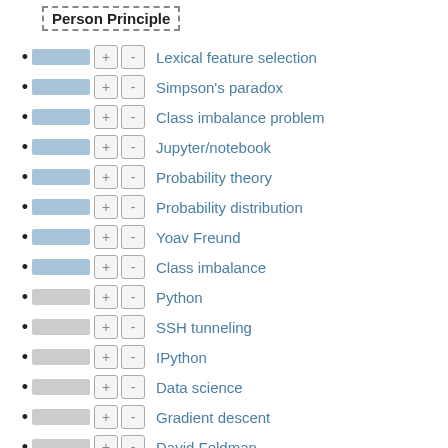Person Principle
Lexical feature selection
Simpson's paradox
Class imbalance problem
Jupyter/notebook
Probability theory
Probability distribution
Yoav Freund
Class imbalance
Python
SSH tunneling
IPython
Data science
Gradient descent
David Feldman
Cross entropy
David MacKay